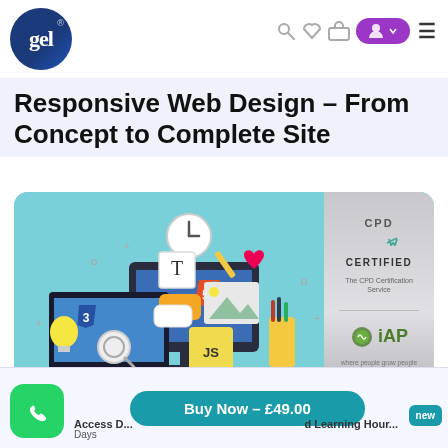gel logo, navigation icons, profile button, menu
Responsive Web Design – From Concept to Complete Site
[Figure (illustration): Course banner image showing web design tools: CSS3, HTML5, JS logos on laptop/monitor, lightbulb, clock, pencil illustration, with CPD Certified and iAP badges on right panel]
Access D... d Learning Hour... Days | Buy Now – £49.00 | new